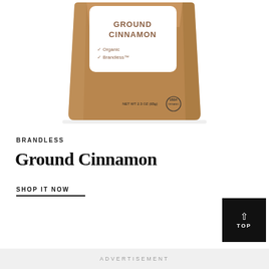[Figure (photo): Product photo of a Brandless Ground Cinnamon package — a brown kraft-style spice pouch with a white label reading GROUND CINNAMON, checkmarks for Organic and Brandless, net weight 2.3 oz (65g), and a USDA Organic seal.]
BRANDLESS
Ground Cinnamon
SHOP IT NOW
ADVERTISEMENT